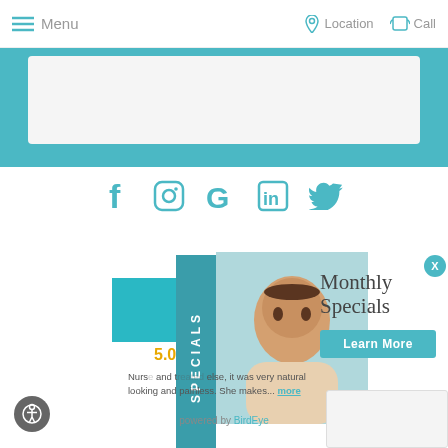Menu | Location | Call
[Figure (screenshot): Social media icons: Facebook, Instagram, Google, LinkedIn, Twitter in teal color]
[Figure (photo): Woman at spa, smiling, with SPECIALS vertical text banner]
Monthly Specials
Learn More
5.0
Nurse... and ... else, it was very natural looking and painless. She makes... more
powered by BirdEye